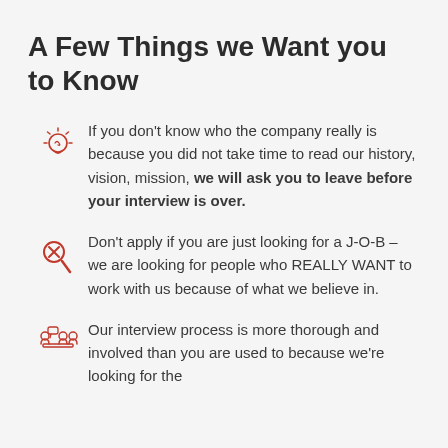A Few Things we Want you to Know
If you don't know who the company really is because you did not take time to read our history, vision, mission, we will ask you to leave before your interview is over.
Don't apply if you are just looking for a J-O-B – we are looking for people who REALLY WANT to work with us because of what we believe in.
Our interview process is more thorough and involved than you are used to because we're looking for the